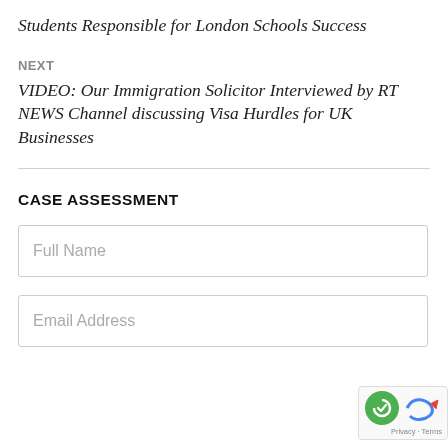Students Responsible for London Schools Success
NEXT
VIDEO: Our Immigration Solicitor Interviewed by RT NEWS Channel discussing Visa Hurdles for UK Businesses
CASE ASSESSMENT
Full Name
Email Address